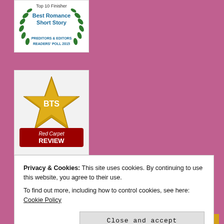[Figure (logo): Top 10 Finisher - Best Romance Short Story - Preditors & Editors Readers Poll 2015 award badge with green laurel wreath]
[Figure (logo): BTS Red Carpet Review award badge with gold star]
Privacy & Cookies: This site uses cookies. By continuing to use this website, you agree to their use.
To find out more, including how to control cookies, see here: Cookie Policy
Close and accept
[Figure (other): Partial bottom strip showing 'choice' text in gold/yellow]